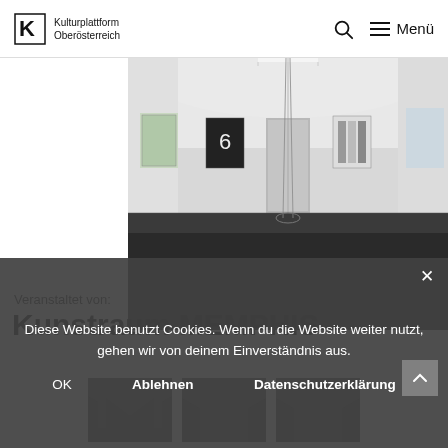Kulturplattform Oberösterreich — Search — Menü
[Figure (photo): Interior of an art gallery with white walls, dark floor, artworks hung on walls, and a thin wire or rod sculpture hanging from the ceiling]
Veranstaltet von:
Kunstraum MEMPHIS
[Figure (logo): Three dark M-shaped logos (Kunstraum MEMPHIS) arranged in a row]
Diese Website benutzt Cookies. Wenn du die Website weiter nutzt, gehen wir von deinem Einverständnis aus.
OK   Ablehnen   Datenschutzerklärung